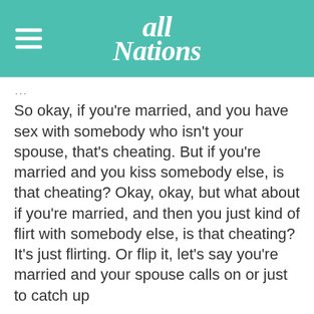All Nations
So okay, if you're married, and you have sex with somebody who isn't your spouse, that's cheating. But if you're married and you kiss somebody else, is that cheating? Okay, okay, but what about if you're married, and then you just kind of flirt with somebody else, is that cheating? It's just flirting. Or flip it, let's say you're married and your spouse calls on or just to catch up…